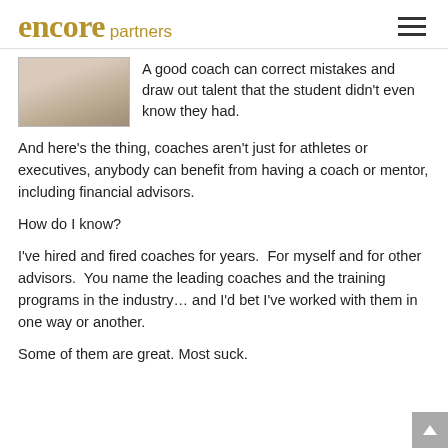encore partners
[Figure (photo): Partial photo of a person, cropped at top, showing upper body in light-colored shirt]
A good coach can correct mistakes and draw out talent that the student didn't even know they had.
And here's the thing, coaches aren't just for athletes or executives, anybody can benefit from having a coach or mentor, including financial advisors.
How do I know?
I've hired and fired coaches for years.  For myself and for other advisors.  You name the leading coaches and the training programs in the industry... and I'd bet I've worked with them in one way or another.
Some of them are great. Most suck.